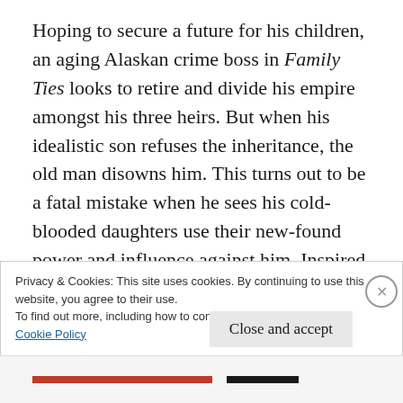Hoping to secure a future for his children, an aging Alaskan crime boss in Family Ties looks to retire and divide his empire amongst his three heirs. But when his idealistic son refuses the inheritance, the old man disowns him. This turns out to be a fatal mistake when he sees his cold-blooded daughters use their new-found power and influence against him. Inspired by the classic play King Lear, The Godfather meets Shakespearean tragedy in this epic tale of
Privacy & Cookies: This site uses cookies. By continuing to use this website, you agree to their use.
To find out more, including how to control cookies, see here:
Cookie Policy
Close and accept